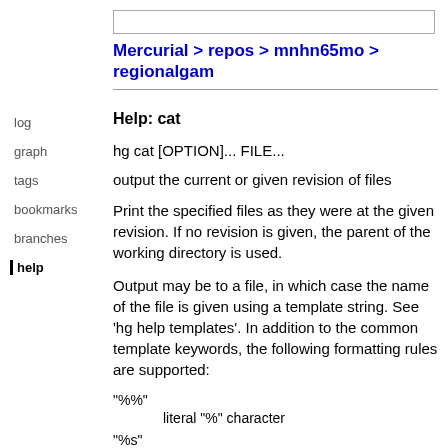Mercurial > repos > mnhn65mo > regionalgam
Help: cat
hg cat [OPTION]... FILE...
output the current or given revision of files
Print the specified files as they were at the given revision. If no revision is given, the parent of the working directory is used.
Output may be to a file, in which case the name of the file is given using a template string. See 'hg help templates'. In addition to the common template keywords, the following formatting rules are supported:
"%%"
literal "%" character
"%s"
basename of file being printed